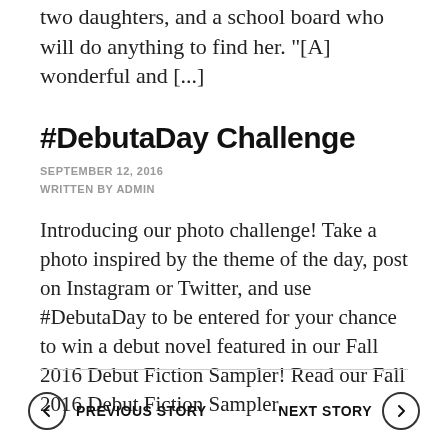two daughters, and a school board who will do anything to find her. "[A] wonderful and [...]
#DebutaDay Challenge
SEPTEMBER 12, 2016
WRITTEN BY ADMIN
Introducing our photo challenge! Take a photo inspired by the theme of the day, post on Instagram or Twitter, and use #DebutaDay to be entered for your chance to win a debut novel featured in our Fall 2016 Debut Fiction Sampler! Read our Fall 2016 Debut Fiction Sampler.
← PREVIOUS STORY   NEXT STORY →